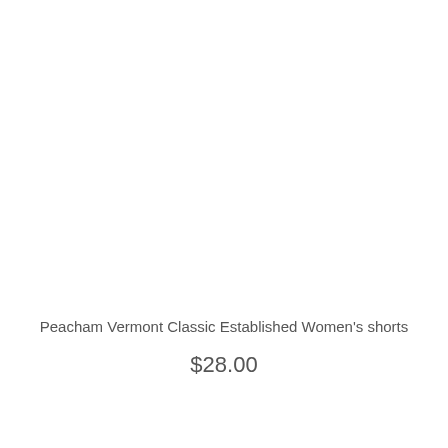Peacham Vermont Classic Established Women's shorts
$28.00